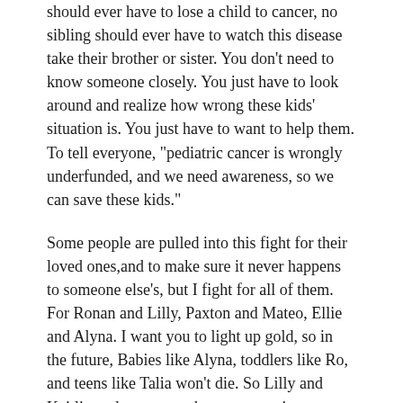should ever have to lose a child to cancer, no sibling should ever have to watch this disease take their brother or sister. You don’t need to know someone closely. You just have to look around and realize how wrong these kids’ situation is. You just have to want to help them. To tell everyone, “pediatric cancer is wrongly underfunded, and we need awareness, so we can save these kids.”
Some people are pulled into this fight for their loved ones,and to make sure it never happens to someone else’s, but I fight for all of them. For Ronan and Lilly, Paxton and Mateo, Ellie and Alyna. I want you to light up gold, so in the future, Babies like Alyna, toddlers like Ro, and teens like Talia won’t die. So Lilly and Kaitlin and so many others can stay in remission. And Mateo and Ellie and every other kid facing cancer can win. Childhood cance is wrong. You don’t have to experience that to know it’s true.